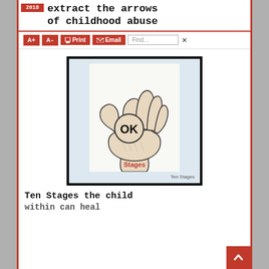extract the arrows of childhood abuse
[Figure (illustration): A hand making an OK gesture with the word OK in the circle formed by thumb and forefinger, and the word Stages written in red on the wrist. Captioned 'Ten Stages'.]
Ten Stages the child within can heal